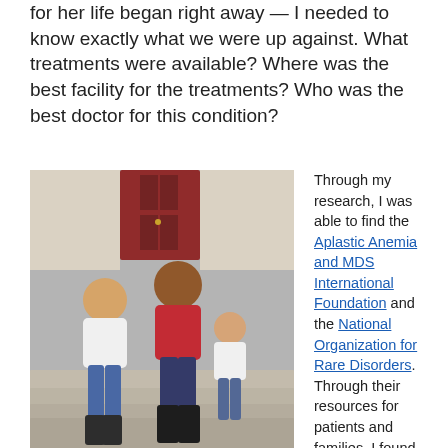for her life began right away — I needed to know exactly what we were up against. What treatments were available? Where was the best facility for the treatments? Who was the best doctor for this condition?
[Figure (photo): Three girls sitting on outdoor steps in front of a red door. The girl on the left wears a white t-shirt and black tall boots, the middle girl wears a red t-shirt and black tall boots, and the smallest girl on the right wears a white t-shirt and blue jeans.]
Through my research, I was able to find the Aplastic Anemia and MDS International Foundation and the National Organization for Rare Disorders. Through their resources for patients and families, I found the world's best center for Emma and successfully